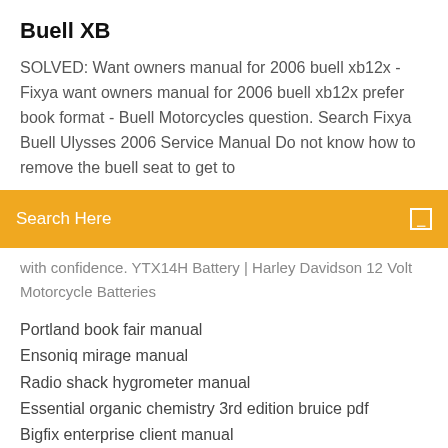Buell XB
SOLVED: Want owners manual for 2006 buell xb12x - Fixya want owners manual for 2006 buell xb12x prefer book format - Buell Motorcycles question. Search Fixya Buell Ulysses 2006 Service Manual Do not know how to remove the buell seat to get to
Search Here
with confidence. YTX14H Battery | Harley Davidson 12 Volt Motorcycle Batteries
Portland book fair manual
Ensoniq mirage manual
Radio shack hygrometer manual
Essential organic chemistry 3rd edition bruice pdf
Bigfix enterprise client manual
Proform elliptical 925 manual
Bo2 cheats ps3 manual
Teetrix fitness equipment manual